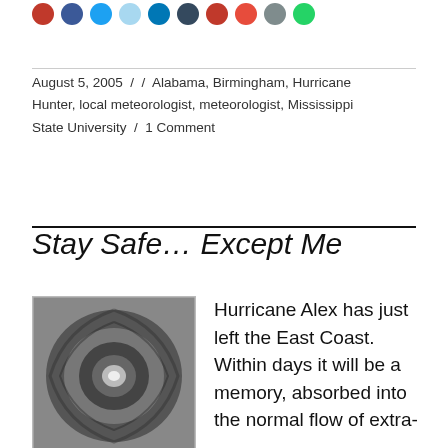[Figure (illustration): Row of social media share buttons (colored circles) partially visible at the top of the page]
August 5, 2005 / / Alabama, Birmingham, Hurricane Hunter, local meteorologist, meteorologist, Mississippi State University / 1 Comment
Stay Safe… Except Me
[Figure (photo): Black and white satellite image of a hurricane showing the eye of the storm]
Hurricane Alex has just left the East Coast. Within days it will be a memory, absorbed into the normal flow of extra-